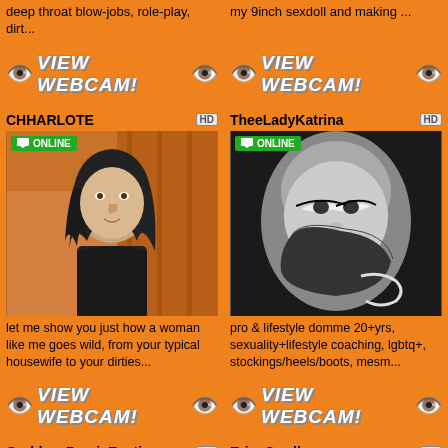deep throat blow-jobs, role-play, dirt...
my 9inch sexdoll and making ...
[Figure (other): VIEW WEBCAM! button with eye emojis - left]
[Figure (other): VIEW WEBCAM! button with eye emojis - right]
CHHARLOTE
HD
[Figure (photo): CHHARLOTE profile photo - woman with long dark hair in black top, ONLINE badge]
TheeLadyKatrina
HD
[Figure (photo): TheeLadyKatrina profile photo - black and white close-up woman with glove, ONLINE badge]
let me show you just how a woman like me goes wild, from your typical housewife to your dirties...
pro & lifestyle domme 20+yrs, sexuality+lifestyle coaching, lgbtq+, stockings/heels/boots, mesm...
[Figure (other): VIEW WEBCAM! button with eye emojis - left bottom]
[Figure (other): VIEW WEBCAM! button with eye emojis - right bottom]
GoddessPersiaExotica
HD
[Figure (photo): GoddessPersiaExotica profile photo partial - dark hair, ONLINE badge]
Erin_Swallows
HD
[Figure (photo): Erin_Swallows profile photo partial - dark hair woman, ONLINE badge]